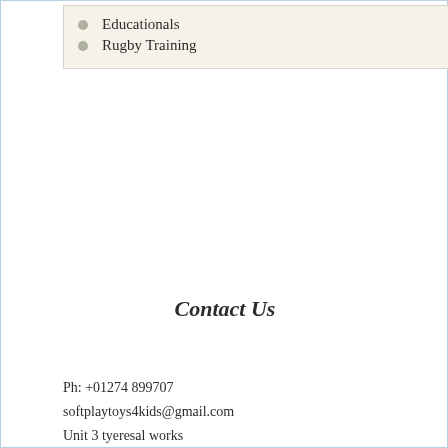Educationals
Rugby Training
Contact Us
Ph: +01274 899707
softplaytoys4kids@gmail.com
Unit 3 tyeresal works
Tyeresal lane Bd4 0rb
Bradford
sales@softplaytoys4kids.co.uk